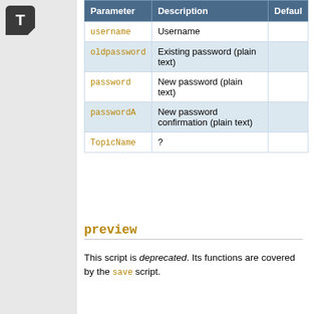| Parameter | Description | Default |
| --- | --- | --- |
| username | Username |  |
| oldpassword | Existing password (plain text) |  |
| password | New password (plain text) |  |
| passwordA | New password confirmation (plain text) |  |
| TopicName | ? |  |
preview
This script is deprecated. Its functions are covered by the save script.